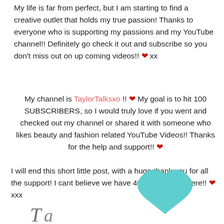My life is far from perfect, but I am starting to find a creative outlet that holds my true passion! Thanks to everyone who is supporting my passions and my YouTube channel!! Definitely go check it out and subscribe so you don't miss out on up coming videos!! ❤ xx
My channel is TaylorTalksxo !! ❤ My goal is to hit 100 SUBSCRIBERS, so I would truly love if you went and checked out my channel or shared it with someone who likes beauty and fashion related YouTube Videos!! Thanks for the help and support!! ❤
I will end this short little post, with a huge thank you for all the support! I cant believe we have 400 lovelies on here!! ❤ xxx
[Figure (illustration): A teal/mint colored heart shape in the lower right area of the page, with a partial cursive signature visible at the bottom left]